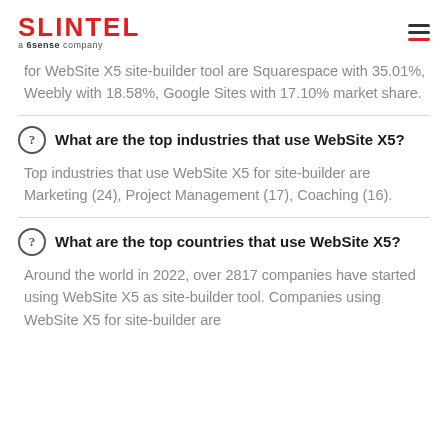SLINTEL a 6sense company
for WebSite X5 site-builder tool are Squarespace with 35.01%, Weebly with 18.58%, Google Sites with 17.10% market share.
What are the top industries that use WebSite X5?
Top industries that use WebSite X5 for site-builder are Marketing (24), Project Management (17), Coaching (16).
What are the top countries that use WebSite X5?
Around the world in 2022, over 2817 companies have started using WebSite X5 as site-builder tool. Companies using WebSite X5 for site-builder are